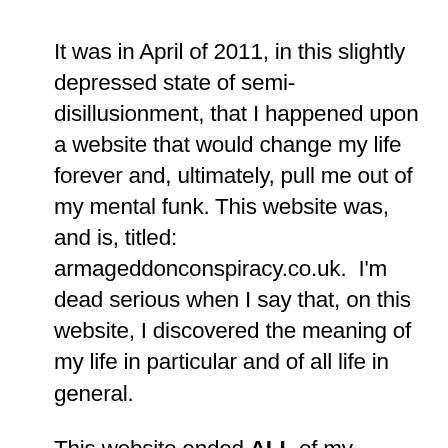It was in April of 2011, in this slightly depressed state of semi-disillusionment, that I happened upon a website that would change my life forever and, ultimately, pull me out of my mental funk. This website was, and is, titled: armageddonconspiracy.co.uk.  I'm dead serious when I say that, on this website, I discovered the meaning of my life in particular and of all life in general.
This website ended ALL of my confusion and opened my mind up to what my purpose on this planet–my Sacred Cause–truly was. You see, this site was written by three senior members of the enigmatic secret society known as the Pythagoreans, the Illuminati. The Illuminati...